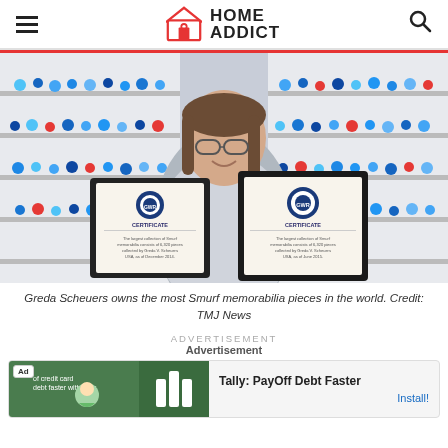HOME ADDICT
[Figure (photo): Woman (Greda Scheuers) holding two framed Guinness World Record certificates, standing in front of shelves filled with Smurf figurines.]
Greda Scheuers owns the most Smurf memorabilia pieces in the world. Credit: TMJ News
ADVERTISEMENT
Advertisement
[Figure (screenshot): Advertisement banner for Tally: PayOff Debt Faster app with Install button.]